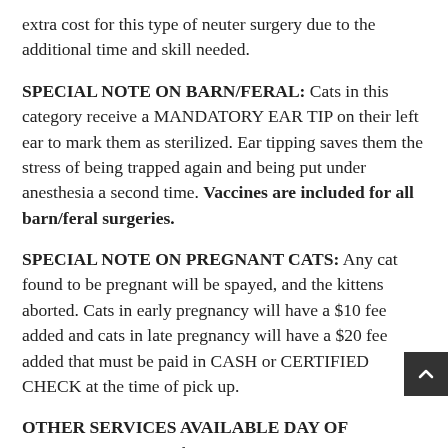extra cost for this type of neuter surgery due to the additional time and skill needed.
SPECIAL NOTE ON BARN/FERAL: Cats in this category receive a MANDATORY EAR TIP on their left ear to mark them as sterilized. Ear tipping saves them the stress of being trapped again and being put under anesthesia a second time. Vaccines are included for all barn/feral surgeries.
SPECIAL NOTE ON PREGNANT CATS: Any cat found to be pregnant will be spayed, and the kittens aborted. Cats in early pregnancy will have a $10 fee added and cats in late pregnancy will have a $20 fee added that must be paid in CASH or CERTIFIED CHECK at the time of pick up.
OTHER SERVICES AVAILABLE DAY OF SURGERY: Must be paid in CASH or CERTIFIED CHECK. Purple Cat does not have a credit card machine at our locations. Price PER